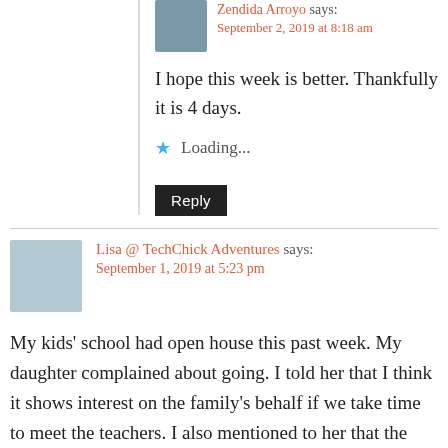Zendida Arroyo says:
September 2, 2019 at 8:18 am
I hope this week is better. Thankfully it is 4 days.
Loading...
Reply
Lisa @ TechChick Adventures says:
September 1, 2019 at 5:23 pm
My kids' school had open house this past week. My daughter complained about going. I told her that I think it shows interest on the family's behalf if we take time to meet the teachers. I also mentioned to her that the teachers are taking time out of their evening to hang out and meet us, so we should do it. I'm glad to see this